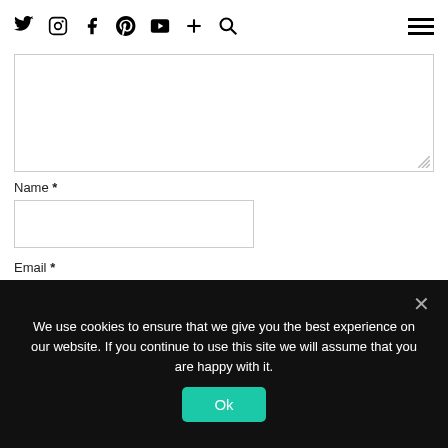Navigation bar with social icons: Twitter, Instagram, Facebook, Pinterest, YouTube, Plus, Search, and hamburger menu
Name *
Email *
Website
We use cookies to ensure that we give you the best experience on our website. If you continue to use this site we will assume that you are happy with it.